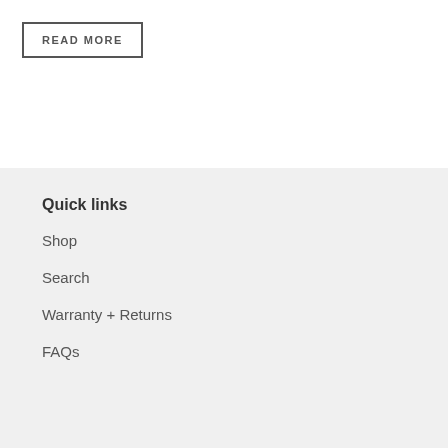READ MORE
Quick links
Shop
Search
Warranty + Returns
FAQs